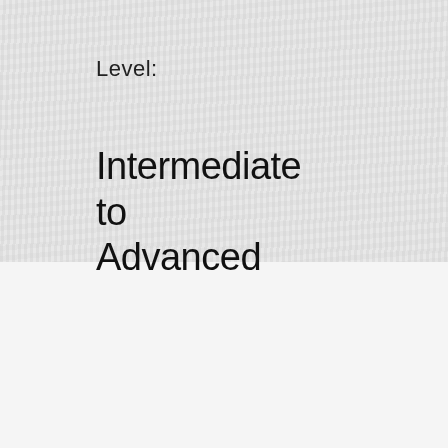Level:
Intermediate to Advanced
[Figure (photo): Orange product cover image showing a compass graphic and the word 'Advance' in white text, displayed on a tablet-like device frame. Includes a teal question-mark bubble icon and a 'More Products >>' button.]